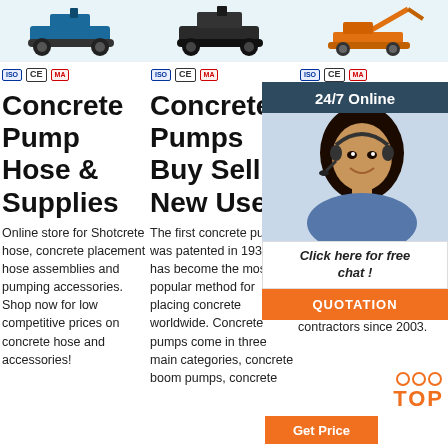[Figure (photo): Three product images of concrete pumps/machinery at top of page in three columns]
ISO CE MA (certification badges) — repeated three times
Concrete Pump Hose & Supplies
Online store for Shotcrete hose, concrete placement hose assemblies and pumping accessories. Shop now for low competitive prices on concrete hose and accessories!
Concrete Pumps Buy Sell New Used
The first concrete pump was patented in 1932 and has become the most popular method for placing concrete worldwide. Concrete pumps come in three main categories, concrete boom pumps, concrete
Concrete Pump Used
Con offer & sh from all m Serv pumping & shotcrete contractors since 2003.
[Figure (photo): Customer service representative with headset — 24/7 Online chat popup overlay with dark header, photo, chat link and QUOTATION button]
24/7 Online
Click here for free chat !
QUOTATION
Get Price